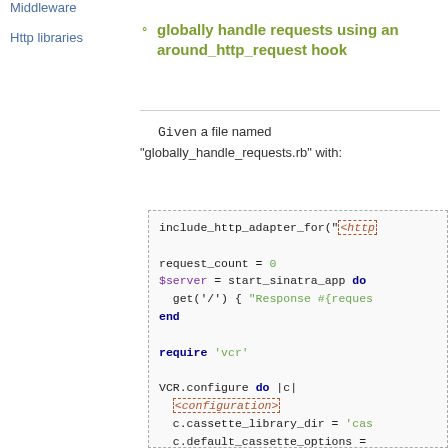Middleware
Http libraries
globally handle requests using an around_http_request hook
Given a file named "globally_handle_requests.rb" with:
include_http_adapter_for("<http

request_count = 0
$server = start_sinatra_app do
  get('/') { "Response #{reques
end

require 'vcr'

VCR.configure do |c|
  <configuration>
  c.cassette_library_dir = 'cas
  c.default_cassette_options =
  c.around_http_request do |req
    VCR.use_cassette('global',
  end
end